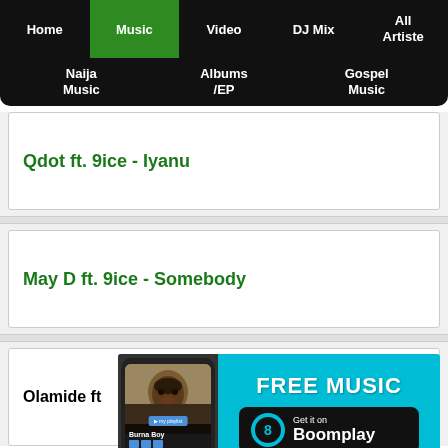Home | Music | Video | DJ Mix | All Artiste | Naija Music | Albums/EP | Gospel Music
Qdot ft. 9ice - Iyanu
May D ft. 9ice - Somebody
Olamide ft...
[Figure (screenshot): Boomplay ad banner with FREE MUSIC text, Burna Boy phone mockup, and Get it on Boomplay button]